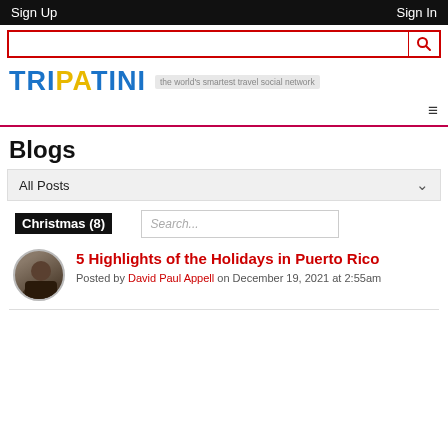Sign Up    Sign In
[Figure (screenshot): Search bar with red border and search icon button]
[Figure (logo): TRIPATINI logo in blue and yellow with tagline: the world's smartest travel social network]
[Figure (other): Hamburger menu icon on right side, with pink/red horizontal divider line below]
Blogs
All Posts
Christmas (8)
Search...
5 Highlights of the Holidays in Puerto Rico
Posted by David Paul Appell on December 19, 2021 at 2:55am